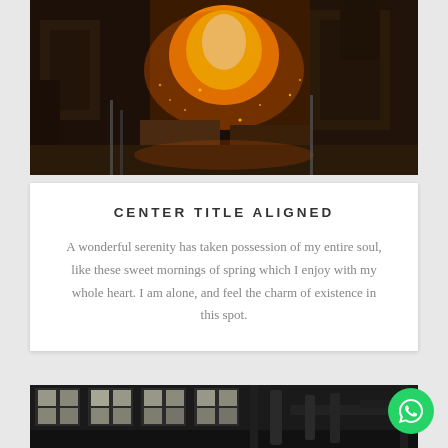[Figure (photo): Industrial molten metal / forge scene with bright orange sparks and fire, heavy machinery in background]
CENTER TITLE ALIGNED
A wonderful serenity has taken possession of my entire soul, like these sweet mornings of spring which I enjoy with my whole heart. I am alone, and feel the charm of existence in this spot.
[Figure (photo): Black and white interior of an old industrial factory or warehouse with large windows and heavy machinery/pipes]